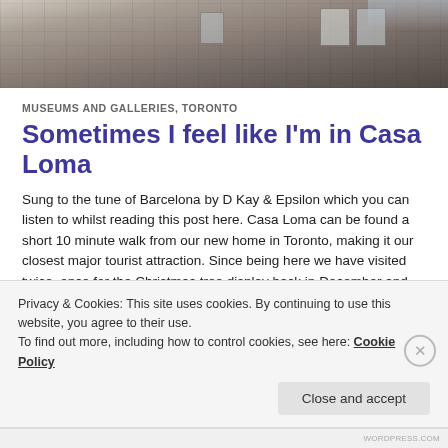[Figure (photo): Partial view of a stone building facade (Casa Loma) showing gothic-style architecture with windows, photographed from below]
MUSEUMS AND GALLERIES, TORONTO
Sometimes I feel like I'm in Casa Loma
Sung to the tune of Barcelona by D Kay & Epsilon which you can listen to whilst reading this post here. Casa Loma can be found a short 10 minute walk from our new home in Toronto, making it our closest major tourist attraction. Since being here we have visited twice, once for the Christmas tree display back in December and again this week for a special    Continue reading
Privacy & Cookies: This site uses cookies. By continuing to use this website, you agree to their use.
To find out more, including how to control cookies, see here: Cookie Policy
Close and accept